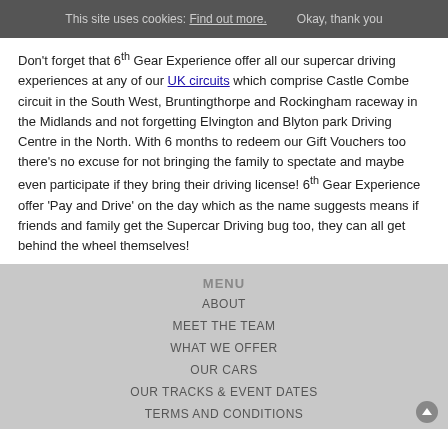This site uses cookies: Find out more.   Okay, thank you
Don't forget that 6th Gear Experience offer all our supercar driving experiences at any of our UK circuits which comprise Castle Combe circuit in the South West, Bruntingthorpe and Rockingham raceway in the Midlands and not forgetting Elvington and Blyton park Driving Centre in the North. With 6 months to redeem our Gift Vouchers too there's no excuse for not bringing the family to spectate and maybe even participate if they bring their driving license! 6th Gear Experience offer 'Pay and Drive' on the day which as the name suggests means if friends and family get the Supercar Driving bug too, they can all get behind the wheel themselves!
MENU
ABOUT
MEET THE TEAM
WHAT WE OFFER
OUR CARS
OUR TRACKS & EVENT DATES
TERMS AND CONDITIONS